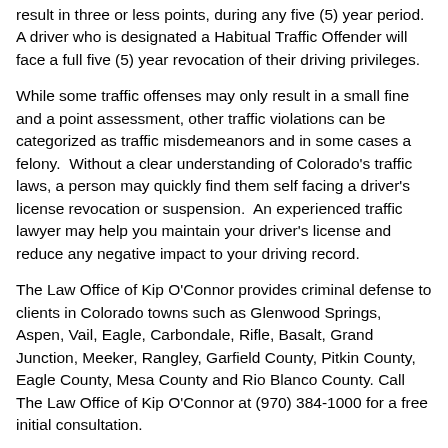result in three or less points, during any five (5) year period.  A driver who is designated a Habitual Traffic Offender will face a full five (5) year revocation of their driving privileges.
While some traffic offenses may only result in a small fine and a point assessment, other traffic violations can be categorized as traffic misdemeanors and in some cases a felony.  Without a clear understanding of Colorado's traffic laws, a person may quickly find them self facing a driver's license revocation or suspension.  An experienced traffic lawyer may help you maintain your driver's license and reduce any negative impact to your driving record.
The Law Office of Kip O'Connor provides criminal defense to clients in Colorado towns such as Glenwood Springs, Aspen, Vail, Eagle, Carbondale, Rifle, Basalt, Grand Junction, Meeker, Rangley, Garfield County, Pitkin County, Eagle County, Mesa County and Rio Blanco County. Call The Law Office of Kip O'Connor at (970) 384-1000 for a free initial consultation.